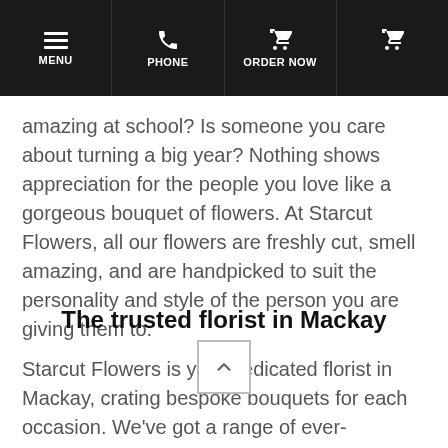MENU | PHONE | ORDER NOW | (cart)
amazing at school? Is someone you care about turning a big year? Nothing shows appreciation for the people you love like a gorgeous bouquet of flowers. At Starcut Flowers, all our flowers are freshly cut, smell amazing, and are handpicked to suit the personality and style of the person you are giving them to.
The trusted florist in Mackay
Starcut Flowers is your dedicated florist in Mackay, crating bespoke bouquets for each occasion. We've got a range of ever-changing expertly designed bouquets for you to choose from. If you however want to make something special-made for your